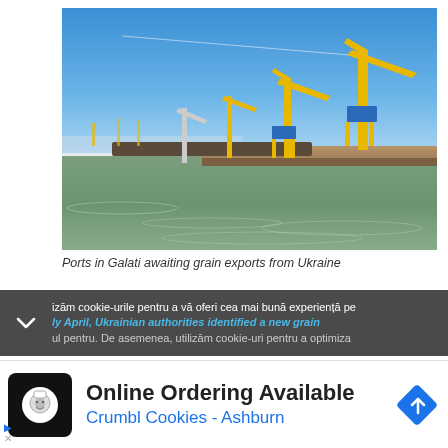[Figure (photo): Port of Galati with yellow harbor cranes on a dock along a river, blue sky above and greenish water in foreground]
Ports in Galati awaiting grain exports from Ukraine
izām cookie-urile pentru a vă oferi cea mai bună experiență pe
ly April, Ukrainian authorities identified a new grain
ul pentru. De asemenea, utilizām cookie-uri pentru a optimiza
Online Ordering Available
Crumbl Cookies - Ashburn